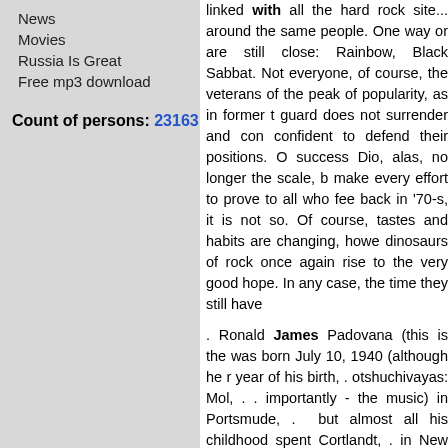News
Movies
Russia Is Great
Free mp3 download
Count of persons: 23163
linked with all the hard rock site... around the same people. One way or are still close: Rainbow, Black Sabbat. Not everyone, of course, the veterans of the peak of popularity, as in former t guard does not surrender and con confident to defend their positions. O success Dio, alas, no longer the scale, b make every effort to prove to all who fee back in '70-s, it is not so. Of course, tastes and habits are changing, howe dinosaurs of rock once again rise to the very good hope. In any case, the time they still have
. Ronald James Padovana (this is the was born July 10, 1940 (although he r year of his birth, . otshuchivayas: Mol, . . importantly - the music) in Portsmude, . but almost all his childhood spent Cortlandt, . in New York, . Later, mayor of the city and its citizen presence of the famous singer in